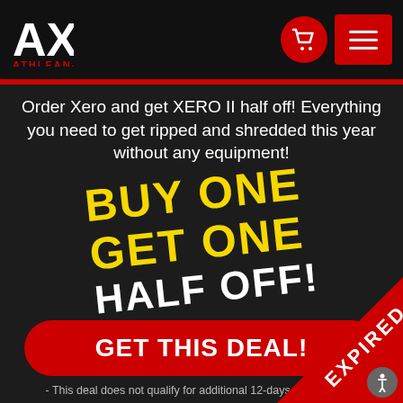[Figure (logo): ATHLEAN-X logo in white and red on black header, with red cart icon and red hamburger menu button]
Order Xero and get XERO II half off! Everything you need to get ripped and shredded this year without any equipment!
[Figure (infographic): BUY ONE GET ONE HALF OFF! text in yellow and white, rotated diagonally]
GET THIS DEAL!
- This deal does not qualify for additional 12-days of X-M offers